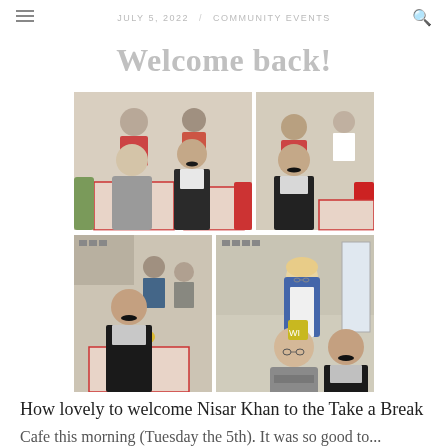JULY 5, 2022 / COMMUNITY EVENTS
Welcome back!
[Figure (photo): Photo collage of four images showing people gathered at a community social event called Take a Break Cafe. People are seated and standing at tables with red checkered tablecloths in what appears to be a community hall with photos on the walls. One man with a dark mustache wearing a dark vest appears in multiple photos along with other attendees including a blonde woman in a blue cardigan.]
How lovely to welcome Nisar Khan to the Take a Break Cafe this morning (Tuesday the 5th). It was so good to...